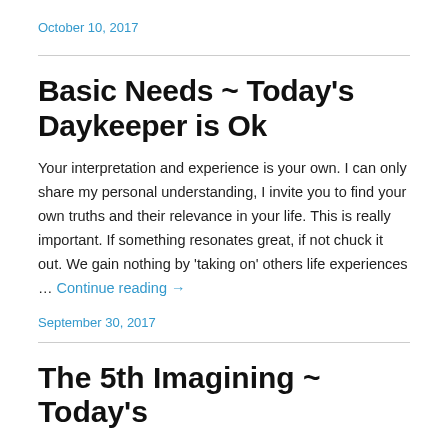October 10, 2017
Basic Needs ~ Today’s Daykeeper is Ok
Your interpretation and experience is your own. I can only share my personal understanding, I invite you to find your own truths and their relevance in your life. This is really important. If something resonates great, if not chuck it out. We gain nothing by ‘taking on’ others life experiences … Continue reading →
September 30, 2017
The 5th Imagining ~ Today’s